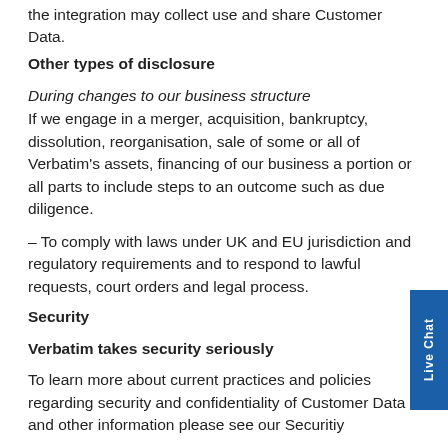the integration may collect use and share Customer Data.
Other types of disclosure
During changes to our business structure
If we engage in a merger, acquisition, bankruptcy, dissolution, reorganisation, sale of some or all of Verbatim's assets, financing of our business a portion or all parts to include steps to an outcome such as due diligence.
– To comply with laws under UK and EU jurisdiction and regulatory requirements and to respond to lawful requests, court orders and legal process.
Security
Verbatim takes security seriously
To learn more about current practices and policies regarding security and confidentiality of Customer Data and other information please see our Securitiy